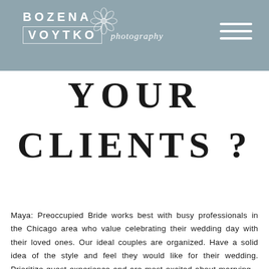BOZENA VOYTKO photography
YOUR CLIENTS ?
Maya: Preoccupied Bride works best with busy professionals in the Chicago area who value celebrating their wedding day with their loved ones. Our ideal couples are organized. Have a solid idea of the style and feel they would like for their wedding. Prioritize guest experience and are most excited about marrying